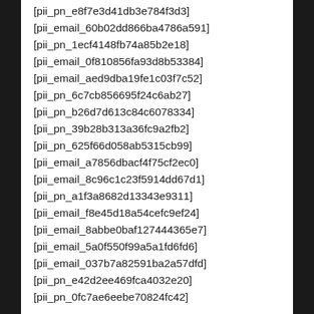[pii_pn_e8f7e3d41db3e784f3d3]
[pii_email_60b02dd866ba4786a591]
[pii_pn_1ecf4148fb74a85b2e18]
[pii_email_0f810856fa93d8b53384]
[pii_email_aed9dba19fe1c03f7c52]
[pii_pn_6c7cb856695f24c6ab27]
[pii_pn_b26d7d613c84c6078334]
[pii_pn_39b28b313a36fc9a2fb2]
[pii_pn_625f66d058ab5315cb99]
[pii_email_a7856dbacf4f75cf2ec0]
[pii_email_8c96c1c23f5914dd67d1]
[pii_pn_a1f3a8682d13343e9311]
[pii_email_f8e45d18a54cefc9ef24]
[pii_email_8abbe0baf127444365e7]
[pii_email_5a0f550f99a5a1fd6fd6]
[pii_email_037b7a82591ba2a57dfd]
[pii_pn_e42d2ee469fca4032e20]
[pii_pn_0fc7ae6eebe70824fc42]